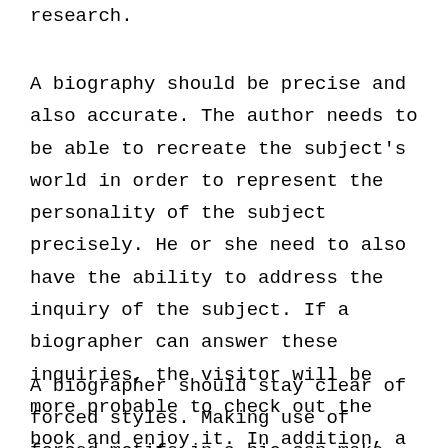research.
A biography should be precise and also accurate. The author needs to be able to recreate the subject's world in order to represent the personality of the subject precisely. He or she need to also have the ability to address the inquiry of the subject. If a biographer can answer these inquiries, the visitor will be more probable to check out the book and enjoy it. In addition, a bio ought to additionally be fascinating for its material. The writer ought to ensure it has a compelling introduction.
A biographer should stay clear of forced styles. Making use of forced motifs in a bio can make the job